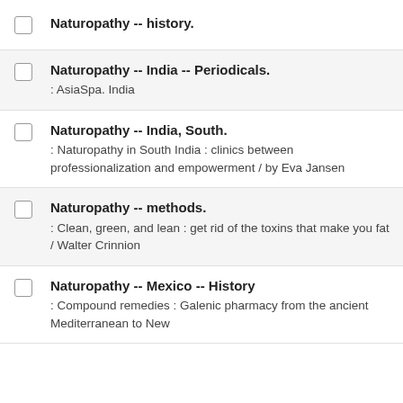Naturopathy -- history.
Naturopathy -- India -- Periodicals.
: AsiaSpa. India
Naturopathy -- India, South.
: Naturopathy in South India : clinics between professionalization and empowerment / by Eva Jansen
Naturopathy -- methods.
: Clean, green, and lean : get rid of the toxins that make you fat / Walter Crinnion
Naturopathy -- Mexico -- History
: Compound remedies : Galenic pharmacy from the ancient Mediterranean to New